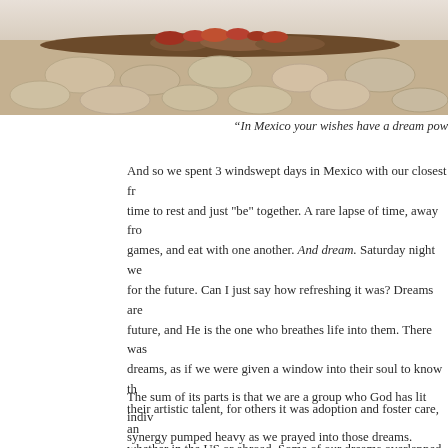[Figure (photo): Photograph of a stone cobblestone path or patio with a low hedge or planted border strip across the upper portion, light sandy/beige tones]
“In Mexico your wishes have a dream pow…
And so we spent 3 windswept days in Mexico with our closest fr… time to rest and just “be” together. A rare lapse of time, away fro… games, and eat with one another. And dream. Saturday night we … for the future. Can I just say how refreshing it was? Dreams are … future, and He is the one who breathes life into them. There was … dreams, as if we were given a window into their soul to know th… their artistic talent, for others it was adoption and foster care, an… whether in the US or abroad. Some of our dreams overlapped, a… one of our dear friends, Erika, it is a dream of using art as an ex… can read more about her endeavors here}.
The sum of its parts is that we are a group who God has lit indiv… synergy pumped heavy as we prayed into those dreams.